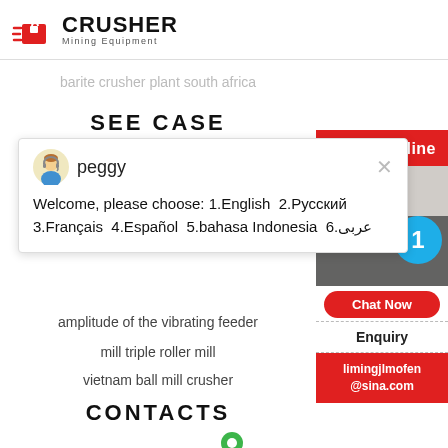[Figure (logo): CRUSHER Mining Equipment logo with red shopping bag icon]
barite crusher plant south africa
SEE CASE
[Figure (screenshot): Chat popup with avatar of peggy saying: Welcome, please choose: 1.English 2.Русский 3.Français 4.Español 5.bahasa Indonesia 6.عربى]
amplitude of the vibrating feeder
mill triple roller mill
vietnam ball mill crusher
CONTACTS
[Figure (illustration): Green map pin icon]
[Figure (screenshot): 24Hrs Online red button, chat widget with blue circle showing 1, Chat Now button, Enquiry section, limingjlmofen@sina.com contact]